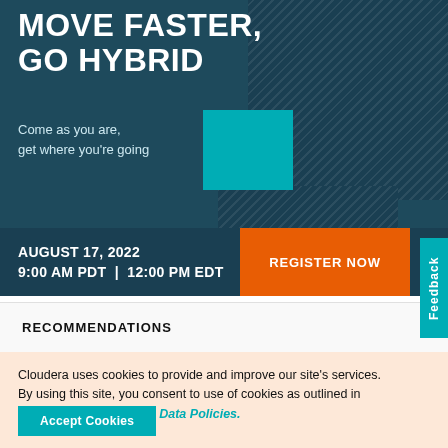MOVE FASTER, GO HYBRID
Come as you are, get where you're going
AUGUST 17, 2022
9:00 AM PDT  |  12:00 PM EDT
REGISTER NOW
Feedback
RECOMMENDATIONS
Cloudera uses cookies to provide and improve our site's services. By using this site, you consent to use of cookies as outlined in Cloudera's Privacy and Data Policies.
Accept Cookies